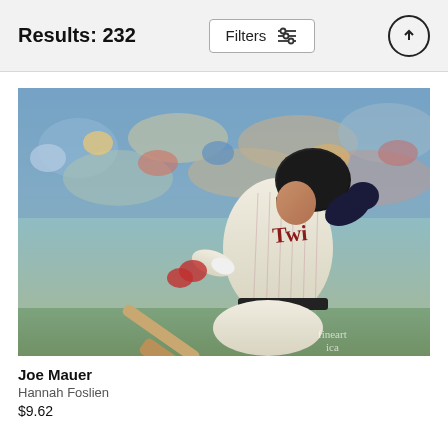Results: 232
[Figure (photo): A baseball player (Joe Mauer) in a Minnesota Twins pinstripe uniform swinging a bat, with a blurred stadium crowd in the background. Fine art america watermark visible.]
Joe Mauer
Hannah Foslien
$9.62